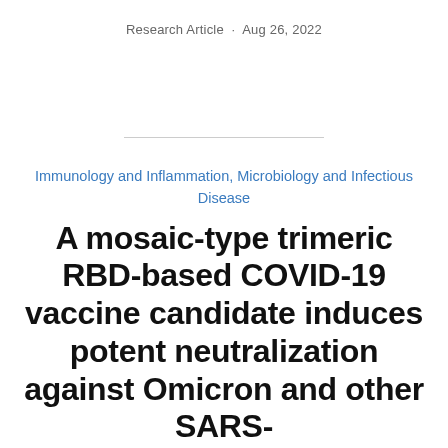Research Article · Aug 26, 2022
Immunology and Inflammation, Microbiology and Infectious Disease
A mosaic-type trimeric RBD-based COVID-19 vaccine candidate induces potent neutralization against Omicron and other SARS-